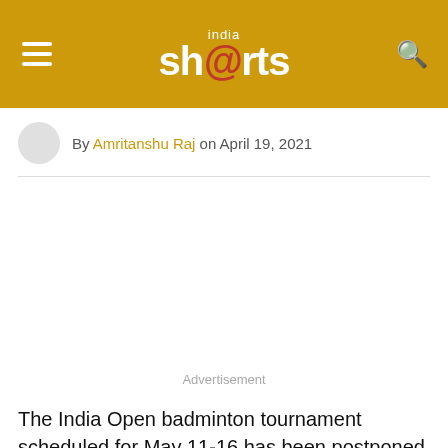india shorts
By Amritanshu Raj on April 19, 2021
[Figure (other): Advertisement placeholder area]
The India Open badminton tournament scheduled for May 11-16 has been postponed by the Badminton Association of India